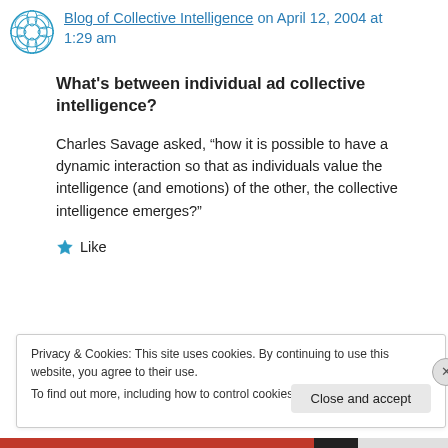Blog of Collective Intelligence on April 12, 2004 at 1:29 am
What's between individual ad collective intelligence?
Charles Savage asked, “how it is possible to have a dynamic interaction so that as individuals value the intelligence (and emotions) of the other, the collective intelligence emerges?”
Like
Privacy & Cookies: This site uses cookies. By continuing to use this website, you agree to their use.
To find out more, including how to control cookies, see here: Cookie Policy